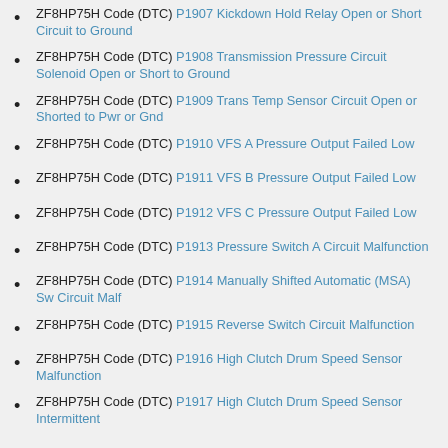ZF8HP75H Code (DTC) P1907 Kickdown Hold Relay Open or Short Circuit to Ground
ZF8HP75H Code (DTC) P1908 Transmission Pressure Circuit Solenoid Open or Short to Ground
ZF8HP75H Code (DTC) P1909 Trans Temp Sensor Circuit Open or Shorted to Pwr or Gnd
ZF8HP75H Code (DTC) P1910 VFS A Pressure Output Failed Low
ZF8HP75H Code (DTC) P1911 VFS B Pressure Output Failed Low
ZF8HP75H Code (DTC) P1912 VFS C Pressure Output Failed Low
ZF8HP75H Code (DTC) P1913 Pressure Switch A Circuit Malfunction
ZF8HP75H Code (DTC) P1914 Manually Shifted Automatic (MSA) Sw Circuit Malf
ZF8HP75H Code (DTC) P1915 Reverse Switch Circuit Malfunction
ZF8HP75H Code (DTC) P1916 High Clutch Drum Speed Sensor Malfunction
ZF8HP75H Code (DTC) P1917 High Clutch Drum Speed Sensor Intermittent